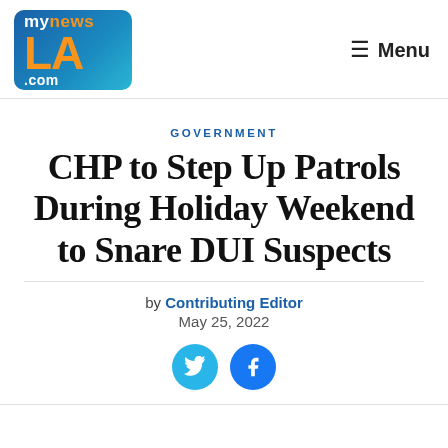myNewsLA.com | Menu
GOVERNMENT
CHP to Step Up Patrols During Holiday Weekend to Snare DUI Suspects
by Contributing Editor
May 25, 2022